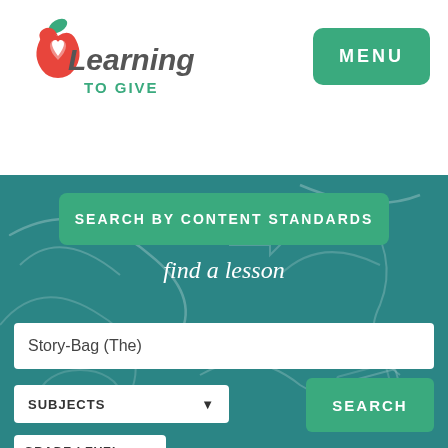[Figure (logo): Learning to Give logo with apple/heart icon, text 'Learning' in dark gray italic and 'TO GIVE' in green]
MENU
[Figure (screenshot): Teal chalkboard background with chalk doodle lines and shapes]
SEARCH BY CONTENT STANDARDS
find a lesson
Story-Bag (The)
SUBJECTS
SEARCH
GRADE LEVEL
AUDIENCE
ISSUE AREA